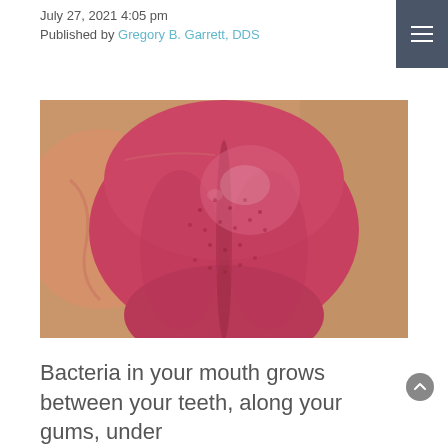July 27, 2021 4:05 pm
Published by Gregory B. Garrett, DDS
[Figure (photo): Close-up photograph of a human tongue extended from the mouth, showing pink-red textured surface with visible papillae and a central groove, with lips partially visible.]
Bacteria in your mouth grows between your teeth, along your gums, under